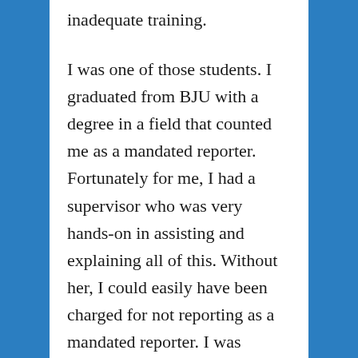inadequate training.
I was one of those students. I graduated from BJU with a degree in a field that counted me as a mandated reporter. Fortunately for me, I had a supervisor who was very hands-on in assisting and explaining all of this. Without her, I could easily have been charged for not reporting as a mandated reporter. I was fortunate in that, but wonder about the many